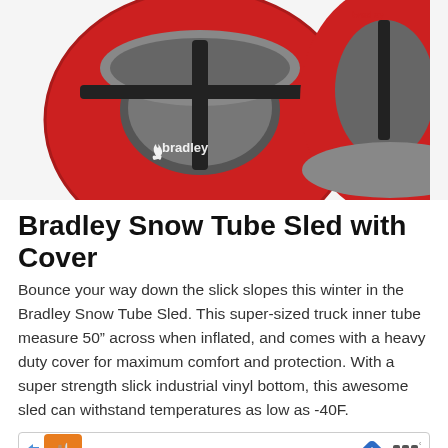[Figure (photo): Product photo of two red Bradley Snow Tube Sleds with gray covers and black straps, on a light background. The Bradley brand logo (flame icon and text) is visible on the tubes.]
Bradley Snow Tube Sled with Cover
Bounce your way down the slick slopes this winter in the Bradley Snow Tube Sled. This super-sized truck inner tube measure 50” across when inflated, and comes with a heavy duty cover for maximum comfort and protection. With a super strength slick industrial vinyl bottom, this awesome sled can withstand temperatures as low as -40F.
[Figure (screenshot): Ad banner with left arrow, orange restaurant logo, checkmarks for Dine-in and Curbside pickup, blue navigation icon, and Waze-style icon.]